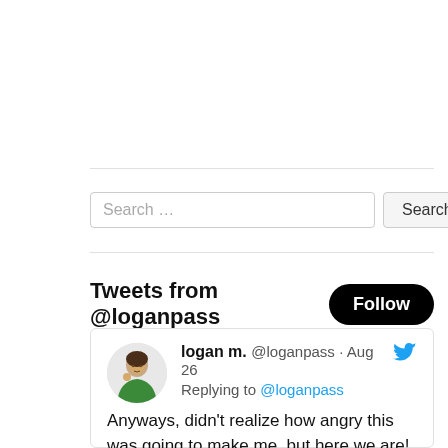[Figure (screenshot): Search bar with text input field labeled 'Search ...' and a 'Search' button]
Tweets from @loganpass
logan m. @loganpass · Aug 26
Replying to @loganpass
Anyways, didn't realize how angry this was going to make me, but here we are! I hope they cancel more debt!!! No one should be tormented by the sisyphean task of trying to pay off a loan that keeps growing even as you continue making payments all while being told it's "good